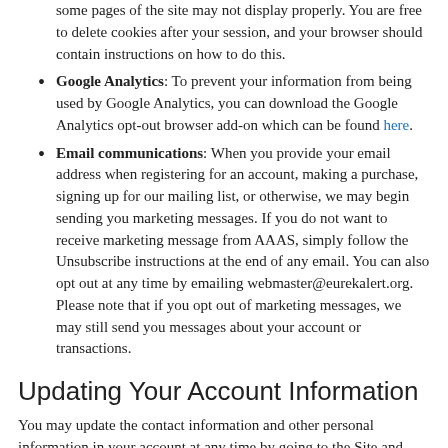some pages of the site may not display properly. You are free to delete cookies after your session, and your browser should contain instructions on how to do this.
Google Analytics: To prevent your information from being used by Google Analytics, you can download the Google Analytics opt-out browser add-on which can be found here.
Email communications: When you provide your email address when registering for an account, making a purchase, signing up for our mailing list, or otherwise, we may begin sending you marketing messages. If you do not want to receive marketing message from AAAS, simply follow the Unsubscribe instructions at the end of any email. You can also opt out at any time by emailing webmaster@eurekalert.org. Please note that if you opt out of marketing messages, we may still send you messages about your account or transactions.
Updating Your Account Information
You may update the contact information and other personal information in your account at any time by going to the Site and clicking on the My Settings button. However, only an AAAS staff member may approve your changed status (i.e., reporter, freelancer, or PIO). Requests for change of status should be